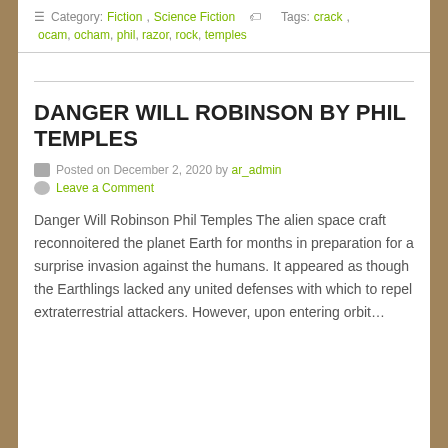Category: Fiction, Science Fiction   Tags: crack, ocam, ocham, phil, razor, rock, temples
DANGER WILL ROBINSON BY PHIL TEMPLES
Posted on December 2, 2020 by ar_admin
Leave a Comment
Danger Will Robinson Phil Temples The alien space craft reconnoitered the planet Earth for months in preparation for a surprise invasion against the humans. It appeared as though the Earthlings lacked any united defenses with which to repel extraterrestrial attackers. However, upon entering orbit…